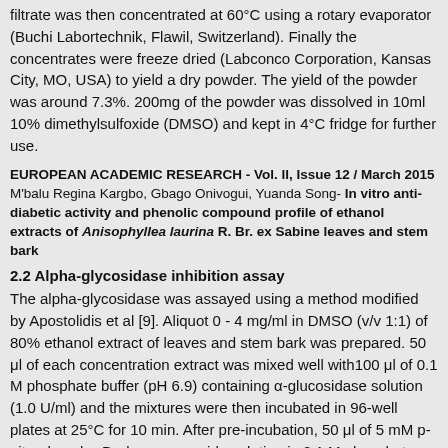filtrate was then concentrated at 60°C using a rotary evaporator (Buchi Labortechnik, Flawil, Switzerland). Finally the concentrates were freeze dried (Labconco Corporation, Kansas City, MO, USA) to yield a dry powder. The yield of the powder was around 7.3%. 200mg of the powder was dissolved in 10ml 10% dimethylsulfoxide (DMSO) and kept in 4°C fridge for further use.
EUROPEAN ACADEMIC RESEARCH - Vol. II, Issue 12 / March 2015 M'balu Regina Kargbo, Gbago Onivogui, Yuanda Song- In vitro anti-diabetic activity and phenolic compound profile of ethanol extracts of Anisophyllea laurina R. Br. ex Sabine leaves and stem bark
2.2 Alpha-glycosidase inhibition assay
The alpha-glycosidase was assayed using a method modified by Apostolidis et al [9]. Aliquot 0 - 4 mg/ml in DMSO (v/v 1:1) of 80% ethanol extract of leaves and stem bark was prepared. 50 μl of each concentration extract was mixed well with100 μl of 0.1 M phosphate buffer (pH 6.9) containing α-glucosidase solution (1.0 U/ml) and the mixtures were then incubated in 96-well plates at 25°C for 10 min. After pre-incubation, 50 μl of 5 mM p-nitrophenyl-α-D-glucopyranoside solution in 0.1 M phosphate buffer (pH 6.9) was added to each well at timed intervals. The reaction mixtures were incubated at 25°C for 5 min. Before and after incubation absorbance readings were recorded at 405 nm using a micro-plate reader (Thermomax